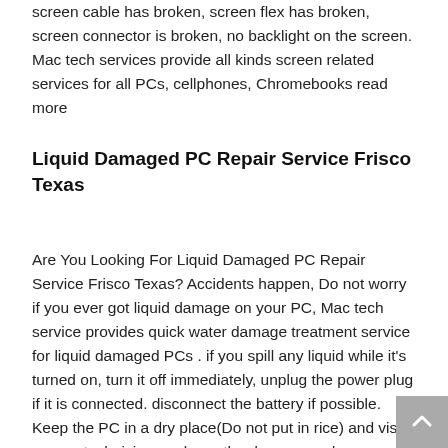screen cable has broken, screen flex has broken, screen connector is broken, no backlight on the screen. Mac tech services provide all kinds screen related services for all PCs, cellphones, Chromebooks read more
Liquid Damaged PC Repair Service Frisco Texas
Are You Looking For Liquid Damaged PC Repair Service Frisco Texas? Accidents happen, Do not worry if you ever got liquid damage on your PC, Mac tech service provides quick water damage treatment service for liquid damaged PCs . if you spill any liquid while it's turned on, turn it off immediately, unplug the power plug if it is connected. disconnect the battery if possible. Keep the PC in a dry place(Do not put in rice) and visit us. our technician analyzes the damage and